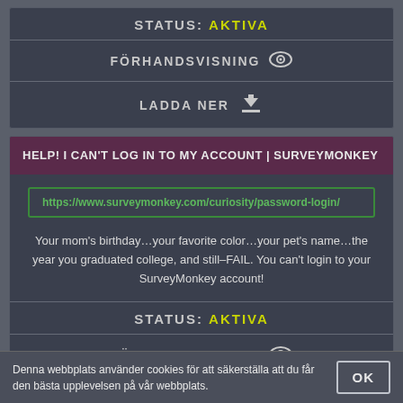STATUS: AKTIVA
FÖRHANDSVISNING
LADDA NER
HELP! I CAN'T LOG IN TO MY ACCOUNT | SURVEYMONKEY
https://www.surveymonkey.com/curiosity/password-login/
Your mom's birthday…your favorite color…your pet's name…the year you graduated college, and still–FAIL. You can't login to your SurveyMonkey account!
STATUS: AKTIVA
FÖRHANDSVISNING
Denna webbplats använder cookies för att säkerställa att du får den bästa upplevelsen på vår webbplats.
OK